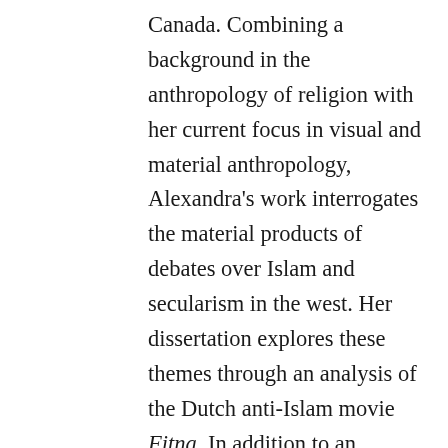Canada. Combining a background in the anthropology of religion with her current focus in visual and material anthropology, Alexandra's work interrogates the material products of debates over Islam and secularism in the west. Her dissertation explores these themes through an analysis of the Dutch anti-Islam movie Fitna. In addition to an ongoing interest in issues of theory and method, her research and teaching areas include contemporary Islam; secularism and the secular; visual and material culture; multiculturalism and pluralism in the so-called west; Islamophobia and social fear; and anthropological approaches to 'image' and